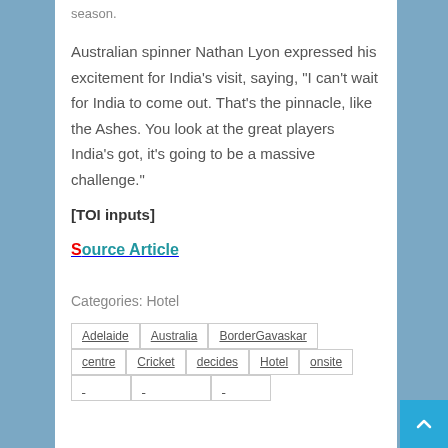season.
Australian spinner Nathan Lyon expressed his excitement for India’s visit, saying, “I can’t wait for India to come out. That’s the pinnacle, like the Ashes. You look at the great players India’s got, it’s going to be a massive challenge.”
[TOI inputs]
Source Article
Categories: Hotel
Adelaide  Australia  BorderGavaskar  centre  Cricket  decides  Hotel  onsite